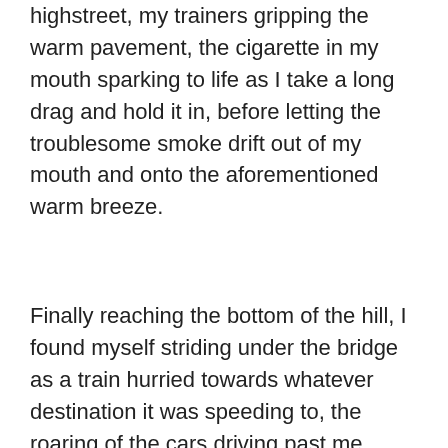highstreet, my trainers gripping the warm pavement, the cigarette in my mouth sparking to life as I take a long drag and hold it in, before letting the troublesome smoke drift out of my mouth and onto the aforementioned warm breeze.
Finally reaching the bottom of the hill, I found myself striding under the bridge as a train hurried towards whatever destination it was speeding to, the roaring of the cars driving past me deafened as it ran along the tracks. The sun greeted me once more as I passed under the bridge, leaving the train's nigh-on deafening sounds behind and